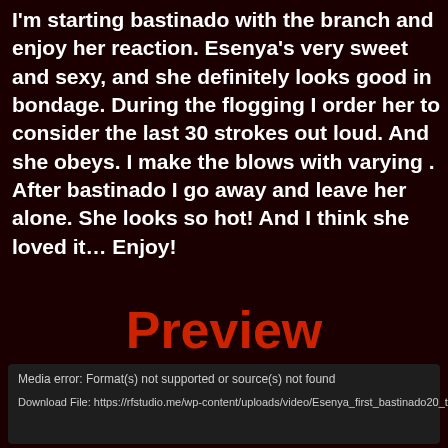I'm starting bastinado with the branch and enjoy her reaction. Esenya's very sweet and sexy, and she definitely looks good in bondage. During the flogging I order her to consider the last 30 strokes out loud. And she obeys. I make the blows with varying . After bastinado I go away and leave her alone. She looks so hot! And I think she loved it… Enjoy!
Preview
Media error: Format(s) not supported or source(s) not found
Download File: https://rfstudio.me/wp-content/uploads/video/Esenya_first_bastinado20_torture